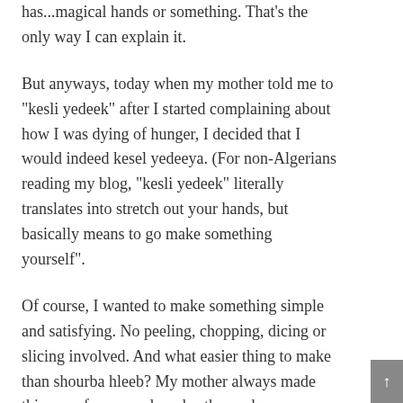has...magical hands or something. That's the only way I can explain it.
But anyways, today when my mother told me to "kesli yedeek" after I started complaining about how I was dying of hunger, I decided that I would indeed kesel yedeeya. (For non-Algerians reading my blog, "kesli yedeek" literally translates into stretch out your hands, but basically means to go make something yourself".
Of course, I wanted to make something simple and satisfying. No peeling, chopping, dicing or slicing involved. And what easier thing to make than shourba hleeb? My mother always made this soup for me and my brothers when we were little and it was and still is a favorite of mine. And coming from someone who